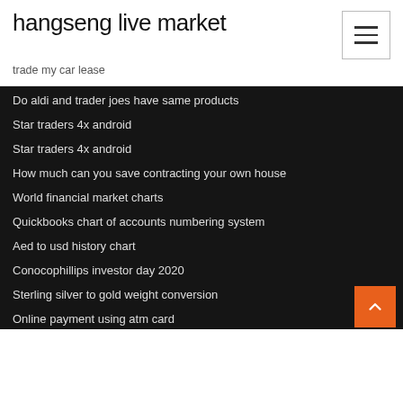hangseng live market
trade my car lease
Do aldi and trader joes have same products
Star traders 4x android
Star traders 4x android
How much can you save contracting your own house
World financial market charts
Quickbooks chart of accounts numbering system
Aed to usd history chart
Conocophillips investor day 2020
Sterling silver to gold weight conversion
Online payment using atm card